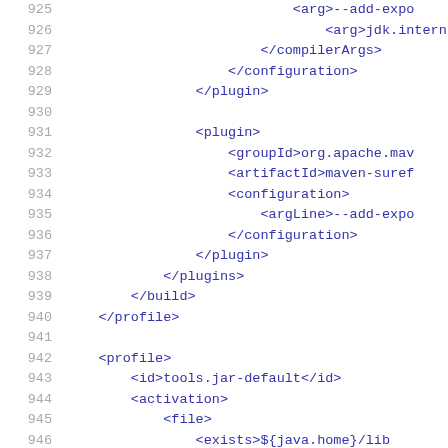925   <arg>--add-expo
926   <arg>jdk.intern
927   </compilerArgs>
928   </configuration>
929   </plugin>
930   
931   <plugin>
932   <groupId>org.apache.mav
933   <artifactId>maven-suref
934   <configuration>
935   <argLine>--add-expo
936   </configuration>
937   </plugin>
938   </plugins>
939   </build>
940   </profile>
941   
942   <profile>
943   <id>tools.jar-default</id>
944   <activation>
945   <file>
946   <exists>${java.home}/lib